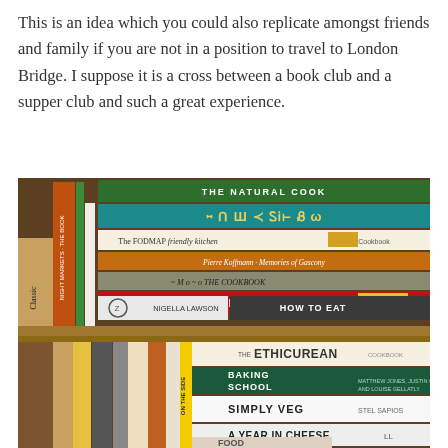This is an idea which you could also replicate amongst friends and family if you are not in a position to travel to London Bridge. I suppose it is a cross between a book club and a supper club and such a great experience.
[Figure (photo): A wooden bookshelf filled with cookbooks including titles such as The Natural Cook, The FODMAP Friendly Kitchen, Pierre Koffmann Memories of Gascony, Moro The Cookbook, Grill Smoke BBQ, Nigella Lawson How To Eat, The Ethicurean Cookbook, Baking School, Simply Veg, A Year in Cheese, and On The Side, among others.]